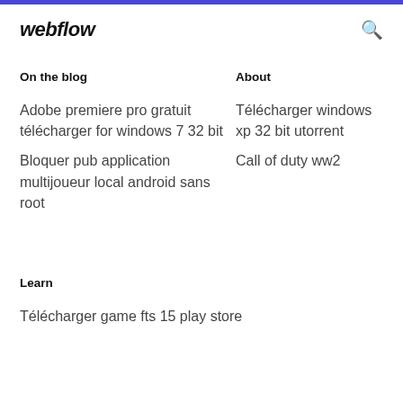webflow
On the blog
About
Adobe premiere pro gratuit télécharger for windows 7 32 bit
Télécharger windows xp 32 bit utorrent
Call of duty ww2
Bloquer pub application multijoueur local android sans root
Learn
Télécharger game fts 15 play store